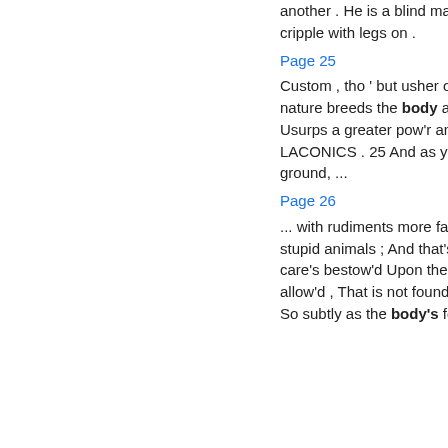another . He is a blind man with eyes , and a cripple with legs on .
Page 25
Custom , tho ' but usher of the school Where nature breeds the body and the soul , VOL . II . c 1 Usurps a greater pow'r and interest O'er man the 1 LACONICS . 25 And as your leaves lie quiet on the ground, ...
Page 26
... with rudiments more false Than nature does her stupid animals ; And that's one reason why more care's bestow'd Upon the body than the soul's allow'd , That is not found to understand and know So subtly as the body's found to grow .